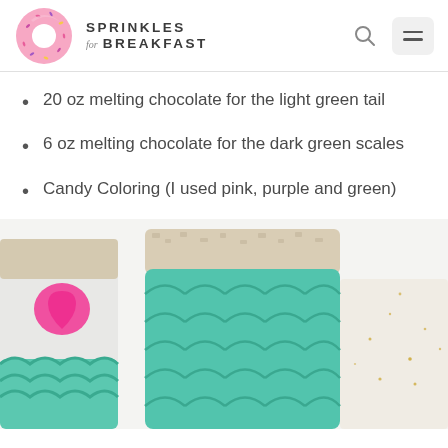Sprinkles for Breakfast
20 oz melting chocolate for the light green tail
6 oz melting chocolate for the dark green scales
Candy Coloring (I used pink, purple and green)
[Figure (photo): Two mermaid tail rice crispy treats: one on the left partially visible showing a pink seashell shape, both coated in teal/mint green chocolate with a fish scale texture pattern, on a white surface with gold glitter.]